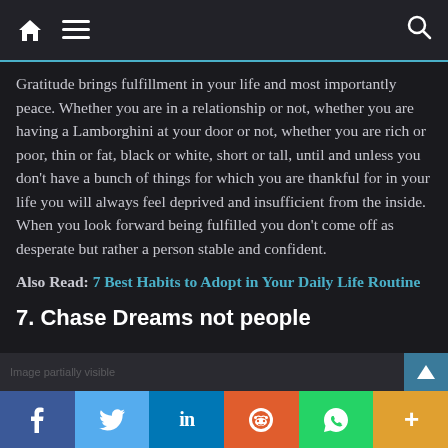Navigation bar with home, menu, and search icons
Gratitude brings fulfillment in your life and most importantly peace. Whether you are in a relationship or not, whether you are having a Lamborghini at your door or not, whether you are rich or poor, thin or fat, black or white, short or tall, until and unless you don't have a bunch of things for which you are thankful for in your life you will always feel deprived and insufficient from the inside. When you look forward being fulfilled you don't come off as desperate but rather a person stable and confident.
Also Read: 7 Best Habits to Adopt in Your Daily Life Routine
7. Chase Dreams not people
Social share bar: Facebook, Twitter, LinkedIn, Reddit, WhatsApp, More